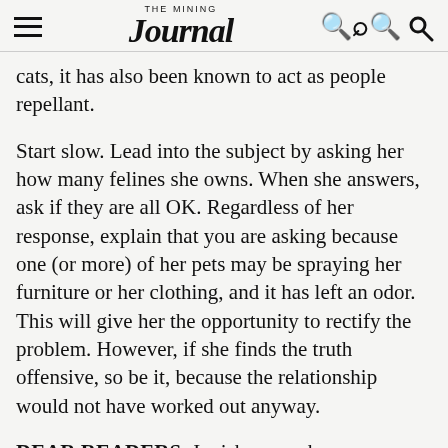THE MINING Journal
cats, it has also been known to act as people repellant.
Start slow. Lead into the subject by asking her how many felines she owns. When she answers, ask if they are all OK. Regardless of her response, explain that you are asking because one (or more) of her pets may be spraying her furniture or her clothing, and it has left an odor. This will give her the opportunity to rectify the problem. However, if she finds the truth offensive, so be it, because the relationship would not have worked out anyway.
DEAR READERS: I wish a very happy Mother's Day to mothers everywhere — birth mothers, adoptive and foster mothers, stepmothers…